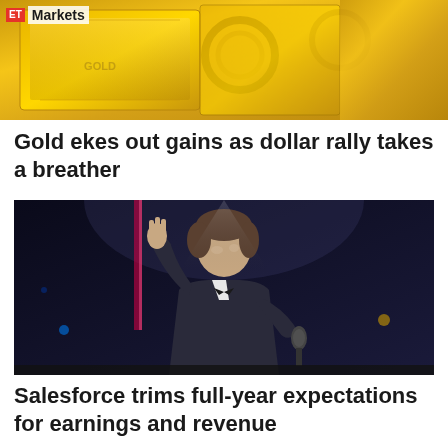[Figure (photo): Close-up of gold bars with ET Markets logo overlay in top-left corner]
Gold ekes out gains as dollar rally takes a breather
[Figure (photo): Man in tuxedo with bow tie speaking into microphone with hand raised on stage with dramatic lighting]
Salesforce trims full-year expectations for earnings and revenue